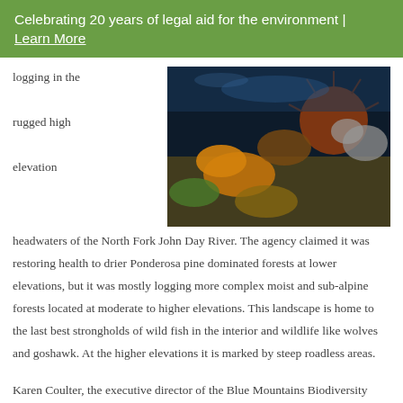Celebrating 20 years of legal aid for the environment | Learn More
logging in the rugged high elevation
[Figure (photo): Close-up underwater/tide pool photo showing various sea creatures including sea urchins and other marine life on rocky substrate]
headwaters of the North Fork John Day River. The agency claimed it was restoring health to drier Ponderosa pine dominated forests at lower elevations, but it was mostly logging more complex moist and sub-alpine forests located at moderate to higher elevations. This landscape is home to the last best strongholds of wild fish in the interior and wildlife like wolves and goshawk. At the higher elevations it is marked by steep roadless areas.
Karen Coulter, the executive director of the Blue Mountains Biodiversity Project (based in Fossil, Oregon), worked with a team of volunteer surveyors and two top scientists to field verify the project. Dr. Richard Waring surveyed the scene and submitted his